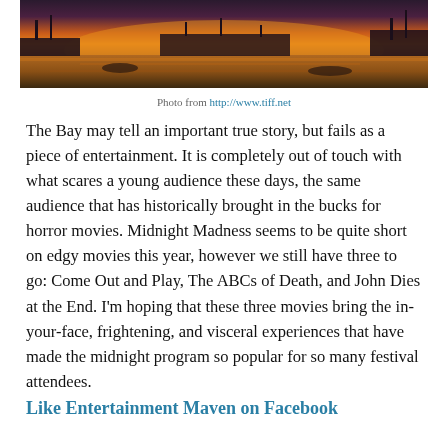[Figure (photo): Sunset over a waterfront/harbour scene with orange and purple sky reflecting on water, industrial structures and boats visible in the background]
Photo from http://www.tiff.net
The Bay may tell an important true story, but fails as a piece of entertainment. It is completely out of touch with what scares a young audience these days, the same audience that has historically brought in the bucks for horror movies. Midnight Madness seems to be quite short on edgy movies this year, however we still have three to go: Come Out and Play, The ABCs of Death, and John Dies at the End. I’m hoping that these three movies bring the in-your-face, frightening, and visceral experiences that have made the midnight program so popular for so many festival attendees.
Like Entertainment Maven on Facebook